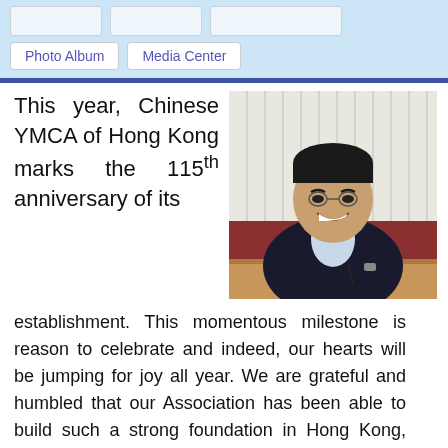[navigation buttons: Photo Album, Media Center]
[Figure (photo): A smiling middle-aged Asian man in a dark suit sitting at a wooden table with a pen in hand, with white vertical blinds in the background.]
This year, Chinese YMCA of Hong Kong marks the 115th anniversary of its establishment. This momentous milestone is reason to celebrate and indeed, our hearts will be jumping for joy all year. We are grateful and humbled that our Association has been able to build such a strong foundation in Hong Kong, and that we have grown and blossomed through the years and decades. We thank